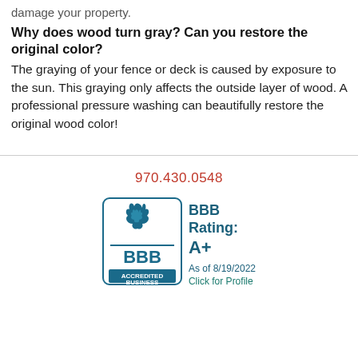damage your property.
Why does wood turn gray? Can you restore the original color?
The graying of your fence or deck is caused by exposure to the sun. This graying only affects the outside layer of wood. A professional pressure washing can beautifully restore the original wood color!
970.430.0548
[Figure (logo): BBB Accredited Business seal with flame logo and BBB Rating: A+ as of 8/19/2022, Click for Profile]